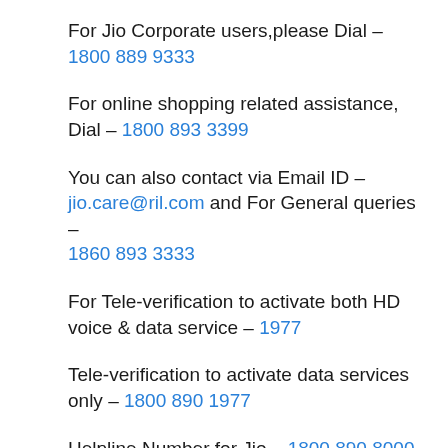For Jio Corporate users,please Dial – 1800 889 9333
For online shopping related assistance, Dial – 1800 893 3399
You can also contact via Email ID – jio.care@ril.com and For General queries – 1860 893 3333
For Tele-verification to activate both HD voice & data service – 1977
Tele-verification to activate data services only – 1800 890 1977
Helpline Number for Jio – 1800 890 8000